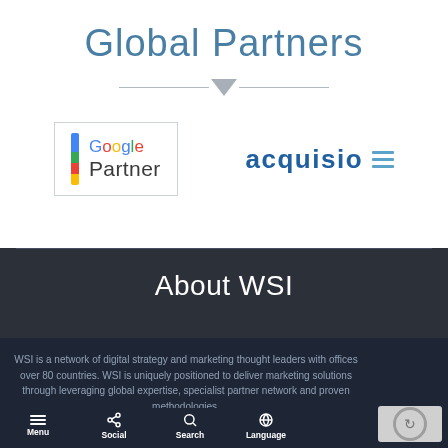Global Partners
[Figure (logo): Google Partner logo with multicolor vertical bar and text]
[Figure (logo): Acquisio logo with blue text and horizontal lines icon]
About WSI
WSI is a network of digital strategy and marketing thought leaders with offices over 80 countries. WSI is uniquely positioned to deliver marketing solutions through leveraging global expertise, specialist partner network and proven methodologies.
Menu  Social  Search  Language